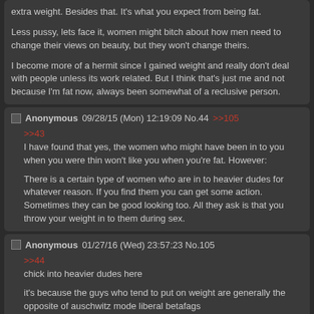extra weight. Besides that. It's what you expect from being fat.

Less pussy, lets face it, women might bitch about how men need to change their views on beauty, but they won't change theirs.

I become more of a hermit since I gained weight and really don't deal with people unless its work related. But I think that's just me and not because I'm fat now, always been somewhat of a reclusive person.
Anonymous 09/28/15 (Mon) 12:19:09 No.44 >>105

>>43
I have found that yes, the women who might have been in to you when you were thin won't like you when you're fat. However:

There is a certain type of women who are in to heavier dudes for whatever reason. If you find them you can get some action. Sometimes they can be good looking too. All they ask is that you throw your weight in to them during sex.
Anonymous 01/27/16 (Wed) 23:57:23 No.105

>>44
chick into heavier dudes here

it's because the guys who tend to put on weight are generally the opposite of auschwitz mode liberal betafags

that said, there's a difference between big guy and big ass